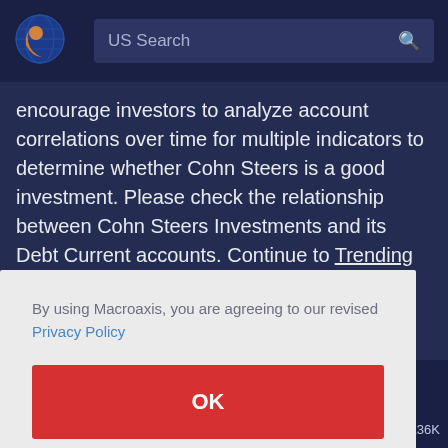[Figure (logo): Macroaxis globe logo — orange and blue circular icon]
US Search
encourage investors to analyze account correlations over time for multiple indicators to determine whether Cohn Steers is a good investment. Please check the relationship between Cohn Steers Investments and its Debt Current accounts. Continue to Trending Equities.
By using Macroaxis, you are agreeing to our revised Privacy Policy
OK
136K